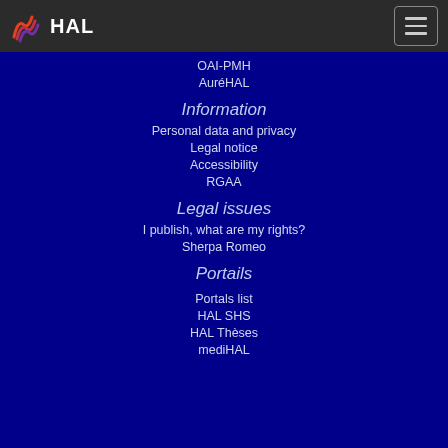HAL
OAI-PMH
AuréHAL
Information
Personal data and privacy
Legal notice
Accessibility
RGAA
Legal issues
I publish, what are my rights?
Sherpa Romeo
Portails
Portals list
HAL SHS
HAL Thèses
mediHAL